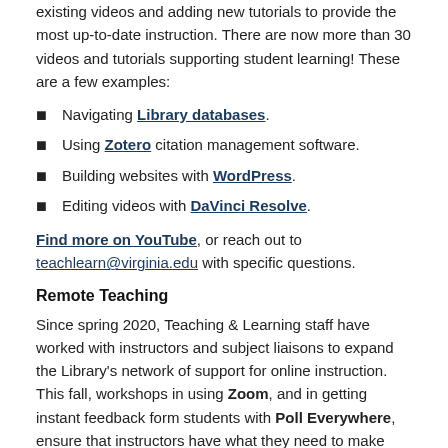existing videos and adding new tutorials to provide the most up-to-date instruction. There are now more than 30 videos and tutorials supporting student learning! These are a few examples:
Navigating Library databases.
Using Zotero citation management software.
Building websites with WordPress.
Editing videos with DaVinci Resolve.
Find more on YouTube, or reach out to teachlearn@virginia.edu with specific questions.
Remote Teaching
Since spring 2020, Teaching & Learning staff have worked with instructors and subject liaisons to expand the Library's network of support for online instruction. This fall, workshops in using Zoom, and in getting instant feedback form students with Poll Everywhere, ensure that instructors have what they need to make online teaching a success. Looking for some assistance with online teaching? Contact teachlearn@virginia.edu.